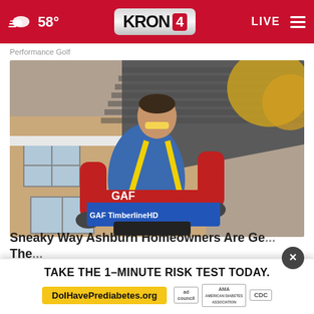KRON 4 — 58° — LIVE
Performance Golf
[Figure (photo): A roofer wearing a blue shirt, yellow safety harness, red arm sleeves, and knee pads carries a package of GAF TimberlineHD shingles up a residential roof. A house with tan siding and a gray roof is visible in the background along with autumn trees.]
Sneaky Way Ashburn Homeowners Are Getting Their...
SmartConsumer Update
TAKE THE 1-MINUTE RISK TEST TODAY.
DoIHavePrediabetes.org